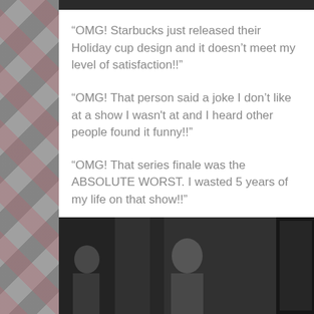[Figure (photo): Top portion of a black and white photo cropped at the top of the card]
“OMG! Starbucks just released their Holiday cup design and it doesn’t meet my level of satisfaction!!”
“OMG! That person said a joke I don’t like at a show I wasn't at and I heard other people found it funny!!”
“OMG! That series finale was the ABSOLUTE WORST. I wasted 5 years of my life on that show!!”
I want you to STARE at this photo.
[Figure (photo): Black and white historical photograph showing people, a child visible in center]